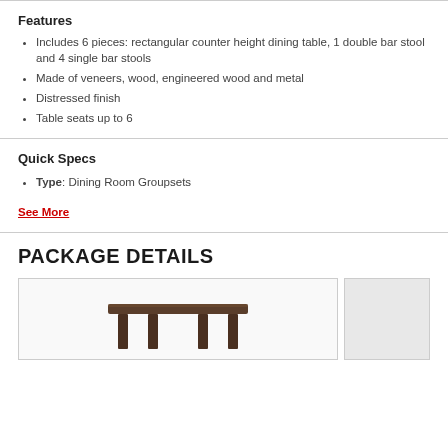Features
Includes 6 pieces: rectangular counter height dining table, 1 double bar stool and 4 single bar stools
Made of veneers, wood, engineered wood and metal
Distressed finish
Table seats up to 6
Quick Specs
Type: Dining Room Groupsets
See More
PACKAGE DETAILS
[Figure (photo): Photo of a dining table furniture piece, partially visible at bottom of page]